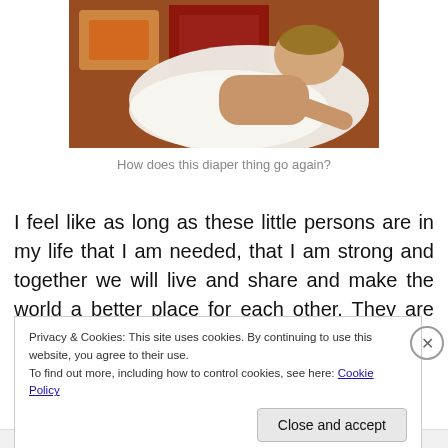[Figure (photo): A child lying on a patterned rug partially covered with a white cloth, photographed from above.]
How does this diaper thing go again?
I feel like as long as these little persons are in my life that I am needed, that I am strong and together we will live and share and make the world a better place for each other. They are my source of strength, they are the well from
Privacy & Cookies: This site uses cookies. By continuing to use this website, you agree to their use.
To find out more, including how to control cookies, see here: Cookie Policy
Close and accept